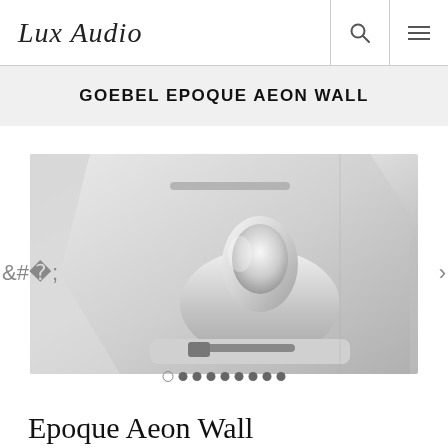Lux Audio
GOEBEL EPOQUE AEON WALL
[Figure (photo): Close-up product photo of the Goebel Epoque Aeon Wall speaker, showing a white/silver wall-mounted speaker unit with a chrome tweeter and angular housing design. Navigation arrows on sides and pagination dots at the bottom of the image carousel.]
Epoque Aeon Wall